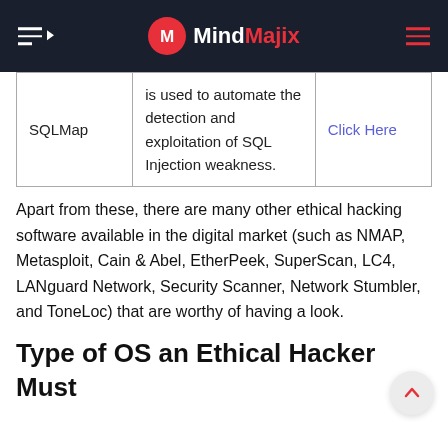MindMajix
| SQLMap | is used to automate the detection and exploitation of SQL Injection weakness. | Click Here |
Apart from these, there are many other ethical hacking software available in the digital market (such as NMAP, Metasploit, Cain & Abel, EtherPeek, SuperScan, LC4, LANguard Network, Security Scanner, Network Stumbler, and ToneLoc) that are worthy of having a look.
Type of OS an Ethical Hacker Must